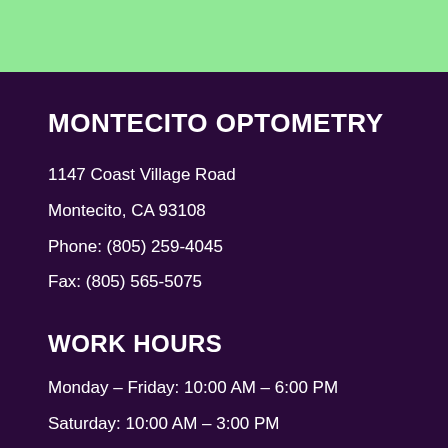MONTECITO OPTOMETRY
1147 Coast Village Road
Montecito, CA 93108
Phone: (805) 259-4045
Fax: (805) 565-5075
WORK HOURS
Monday – Friday: 10:00 AM – 6:00 PM
Saturday: 10:00 AM – 3:00 PM